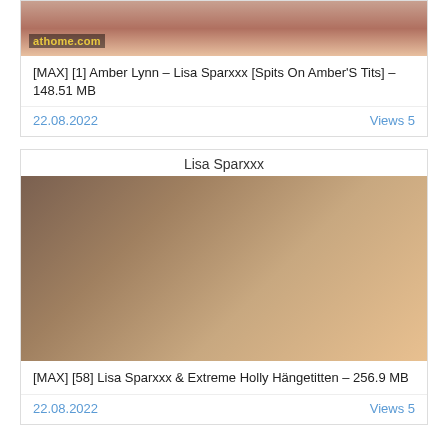[Figure (photo): Partial adult content thumbnail with athome.com watermark]
[MAX] [1] Amber Lynn – Lisa Sparxxx [Spits On Amber'S Tits] – 148.51 MB
22.08.2022    Views 5
Lisa Sparxxx
[Figure (photo): Adult content thumbnail]
[MAX] [58] Lisa Sparxxx & Extreme Holly Hängetitten – 256.9 MB
22.08.2022    Views 5